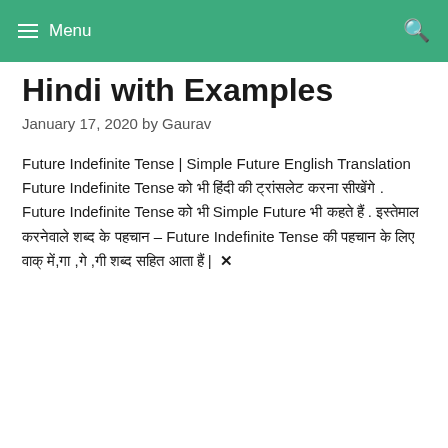≡ Menu
Hindi with Examples
January 17, 2020 by Gaurav
Future Indefinite Tense | Simple Future English Translation  Future Indefinite Tense को भी हिंदी की ट्रांसलेट करना सीखेंगे . Future Indefinite Tense को भी Simple Future भी कहते हैं . इस्तेमाल करनेवाले शब्द के पहचान – Future Indefinite Tense की पहचान के लिए वाक् में,गा ,गे ,गी शब्द सहित आता हैं | ✕